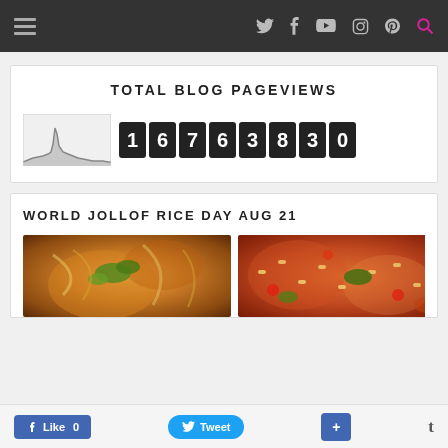Navigation bar with hamburger menu and social icons (Twitter, Facebook, YouTube, Instagram, Pinterest, Search)
TOTAL BLOG PAGEVIEWS
[Figure (continuous-plot): Small inline line/area chart showing blog traffic over time with a spike]
16763830
WORLD JOLLOF RICE DAY AUG 21
[Figure (photo): Two food photos side by side showing jollof rice dishes]
Like 0   Tweet   +   t